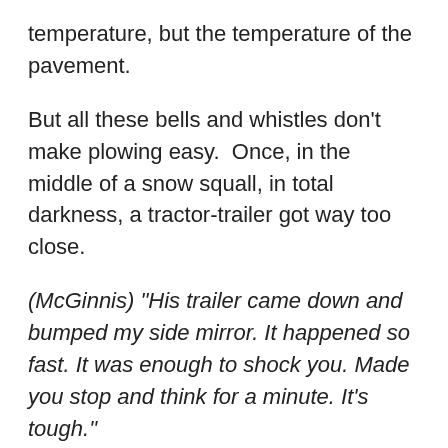temperature, but the temperature of the pavement.
But all these bells and whistles don't make plowing easy.  Once, in the middle of a snow squall, in total darkness, a tractor-trailer got way too close.
(McGinnis) "His trailer came down and bumped my side mirror. It happened so fast. It was enough to shock you. Made you stop and think for a minute. It's tough."
(Albright) McGinnis kept his truck on the road, but it was a scare.